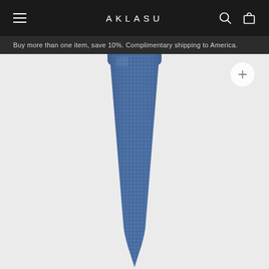AKLASU
Buy more than one item, save 10%. Complimentary shipping to America.
[Figure (photo): Product photo of a blue textured silk/woven necktie laid flat on a light grey background, photographed from above showing the wide blade of the tie.]